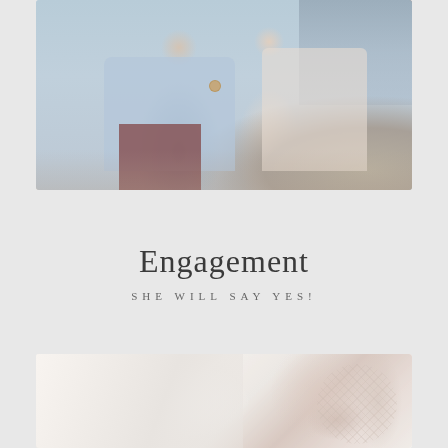[Figure (photo): Close-up photo of a couple embracing outdoors near water and rocks. The man wears a light blue shirt, dark red/maroon pants, and a rose gold watch. The woman wears a cream/white lace top. Their torsos and arms are visible.]
Engagement
SHE WILL SAY YES!
[Figure (photo): Close-up photo of what appears to be a white wedding dress with lace detailing on the right side. Soft, light background with white fabric visible on the left.]